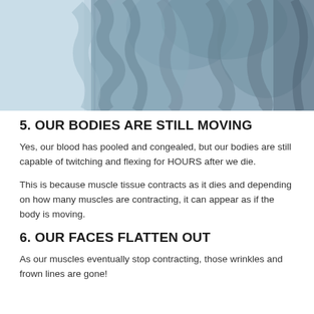[Figure (photo): Close-up photograph of a blue-grey knitted textile or sweater, with a light blue background on the left side.]
5. OUR BODIES ARE STILL MOVING
Yes, our blood has pooled and congealed, but our bodies are still capable of twitching and flexing for HOURS after we die.
This is because muscle tissue contracts as it dies and depending on how many muscles are contracting, it can appear as if the body is moving.
6. OUR FACES FLATTEN OUT
As our muscles eventually stop contracting, those wrinkles and frown lines are gone!